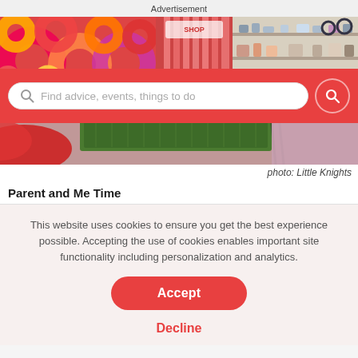Advertisement
[Figure (photo): Colorful play area/store photo collage: left shows foam rolls in red/orange/yellow, center shows pink curtain storefront, right shows shelves in a children's store. Bottom half shows grass mat and pink floor.]
Find advice, events, things to do
photo: Little Knights
Parent and Me Time
This website uses cookies to ensure you get the best experience possible. Accepting the use of cookies enables important site functionality including personalization and analytics.
Accept
Decline